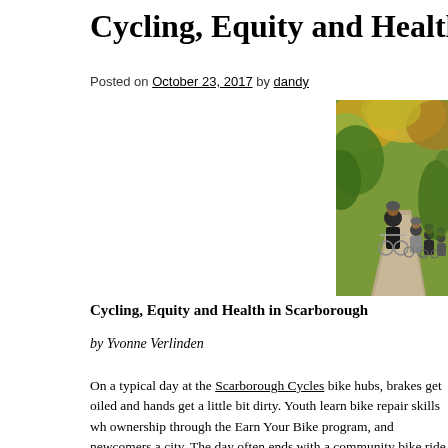Cycling, Equity and Health in S
Posted on October 23, 2017 by dandy
[Figure (photo): Group of cyclists riding on a trail through autumn foliage, led by a young man in a black t-shirt and helmet]
Cycling, Equity and Health in Scarborough
by Yvonne Verlinden
On a typical day at the Scarborough Cycles bike hubs, brakes get oiled and hands get a little bit dirty. Youth learn bike repair skills wh ownership through the Earn Your Bike program, and newcomers a city. The day often ends with a community bike ride exploring loca